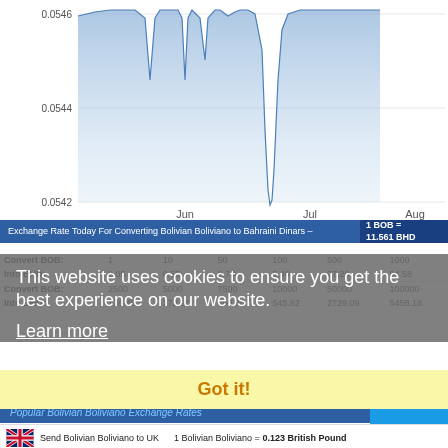[Figure (area-chart): Area chart showing Bolivian Boliviano to Bahraini Dinar exchange rate over time (Jun–Aug), y-axis values 0.0542 to 0.0546, with a sharp dip around late June/early July]
Exchange Rate Today For Converting Bolivian Boliviano to Bahraini Dinars – 1 BOB = 11.561 BHD
| Convert BOB: | 1 | 10 | 50 | 100 | 500 | 1000 |
| --- | --- | --- | --- | --- | --- | --- |
| Into BHD: | 0.05 | 0.55 | 2.78 | 5.46 | 27.29 | 54.58 |
| Convert BOB: | 2500 | 5000 | 7500 | 10000 | 50000 | 100000 |
| --- | --- | --- | --- | --- | --- | --- |
| Into BHD: | 136.45 | 272.91 | 409.36 | 545.82 | 2729.09 | 5458.18 |
Popular Bolivian Boliviano Exchange Rates
Send Bolivian Boliviano to UK        1 Bolivian Boliviano = 0.123 British Pound